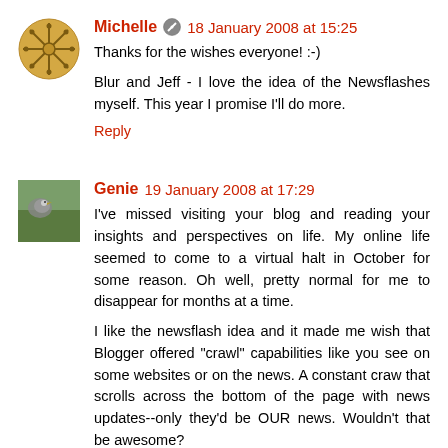Michelle 18 January 2008 at 15:25
Thanks for the wishes everyone! :-)
Blur and Jeff - I love the idea of the Newsflashes myself. This year I promise I'll do more.
Reply
Genie 19 January 2008 at 17:29
I've missed visiting your blog and reading your insights and perspectives on life. My online life seemed to come to a virtual halt in October for some reason. Oh well, pretty normal for me to disappear for months at a time.
I like the newsflash idea and it made me wish that Blogger offered "crawl" capabilities like you see on some websites or on the news. A constant craw that scrolls across the bottom of the page with news updates--only they'd be OUR news. Wouldn't that be awesome?